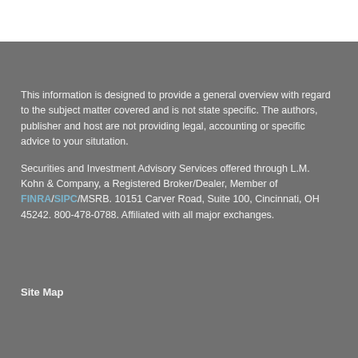This information is designed to provide a general overview with regard to the subject matter covered and is not state specific. The authors, publisher and host are not providing legal, accounting or specific advice to your situtation.
Securities and Investment Advisory Services offered through L.M. Kohn & Company, a Registered Broker/Dealer, Member of FINRA/SIPC/MSRB. 10151 Carver Road, Suite 100, Cincinnati, OH 45242. 800-478-0788. Affiliated with all major exchanges.
Site Map